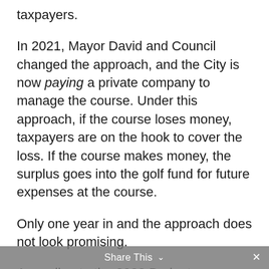taxpayers.
In 2021, Mayor David and Council changed the approach, and the City is now paying a private company to manage the course. Under this approach, if the course loses money, taxpayers are on the hook to cover the loss. If the course makes money, the surplus goes into the golf fund for future expenses at the course.
Only one year in and the approach does not look promising.
According to the 2022 Budget, taxpayers are being asked to (a) fund $350,000 for capital